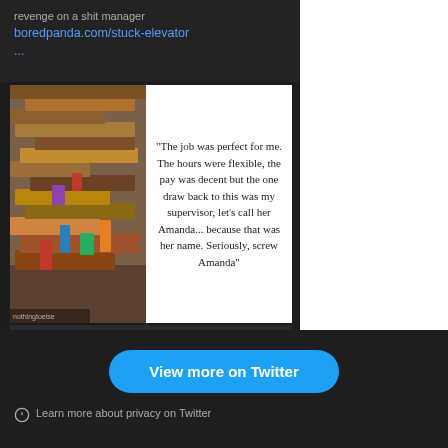revenge on a shit manager
boredpanda.com/stuck-elevator
...
[Figure (screenshot): Screenshot of a meme or article image showing a large pile of stacked books/magazines on the left half, and a quote on the right half: 'The job was perfect for me. The hours were flexible, the pay was decent but the one draw back to this was my supervisor, let's call her Amanda... because that was her name. Seriously, screw Amanda']
boredpanda.com
Manager “Left Hanging” In Elevator For 5 Hours With A Fu…
1
2
View more on Twitter
Learn more about privacy on Twitter